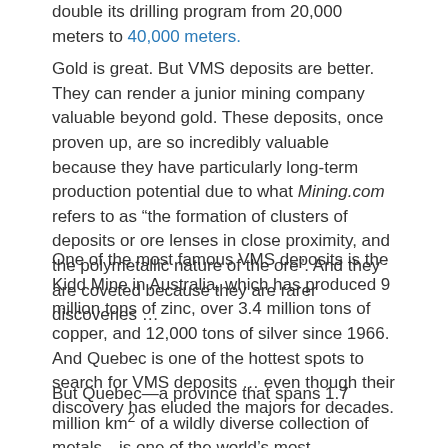double its drilling program from 20,000 meters to 40,000 meters.
Gold is great. But VMS deposits are better. They can render a junior mining company valuable beyond gold. These deposits, once proven up, are so incredibly valuable because they have particularly long-term production potential due to what Mining.com refers to as “the formation of clusters of deposits or ore lenses in close proximity, and the polymetallic nature of the ore”. And they are coveted because they are rarer discoveries …
One of the most famous VMS deposits is the Kidd Mine in Australia, which has produced 9 million tons of zinc, over 3.4 million tons of copper, and 12,000 tons of silver since 1966. And Quebec is one of the hottest spots to search for VMS deposits … even though their discovery has eluded the majors for decades.
But Quebec—a province that spans 1.7 million km² of a wildly diverse collection of metals—is one of the world’s most tantalizing, untapped mining venues. Right now, only 1% of the province is being mined, and only 5% is covered by mining rights.
That puts Starr Peak right in the middle of VMS discovery sweet spot, with high-grade results already from its first two drills. The hopes are that it could blow even the original Amex discovery